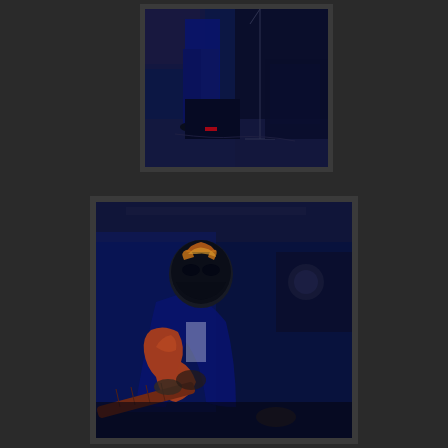[Figure (photo): Concert photograph showing a performer's lower body on stage, lit with blue stage lighting. Dark background with music equipment visible including a microphone stand and speaker/monitor. Red LED display visible on equipment. Stage cables on floor.]
[Figure (photo): Concert photograph of a guitarist wearing a luchador/wrestling mask with orange and gold design, dressed in a dark suit, leaning forward while playing an orange electric guitar. Blue stage lighting illuminates the scene against a dark background.]